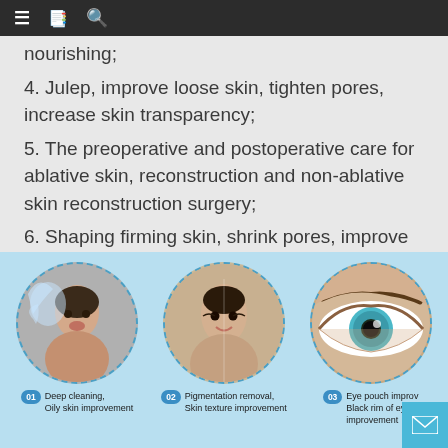≡  📋  🔍
nourishing;
4. Julep, improve loose skin, tighten pores, increase skin transparency;
5. The preoperative and postoperative care for ablative skin, reconstruction and non-ablative skin reconstruction surgery;
6. Shaping firming skin, shrink pores, improve double chin, wrinkle improvement.
[Figure (infographic): Light blue infographic showing three circular portrait images. Circle 01: Deep cleaning, Oily skin improvement (woman with water splash). Circle 02: Pigmentation removal, Skin texture improvement (Asian woman face). Circle 03: Eye pouch improvement, Black rim of eye improvement (close-up of eye).]